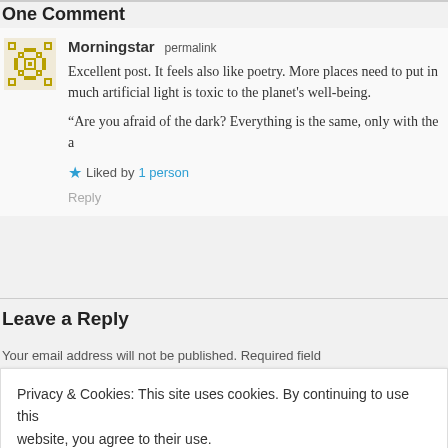One Comment
Morningstar permalink
Excellent post. It feels also like poetry. More places need to put in much artificial light is toxic to the planet's well-being.
“Are you afraid of the dark? Everything is the same, only with the a
Liked by 1 person
Reply
Leave a Reply
Your email address will not be published. Required field
Privacy & Cookies: This site uses cookies. By continuing to use this website, you agree to their use.
To find out more, including how to control cookies, see here: Cookie Policy
Close and accept